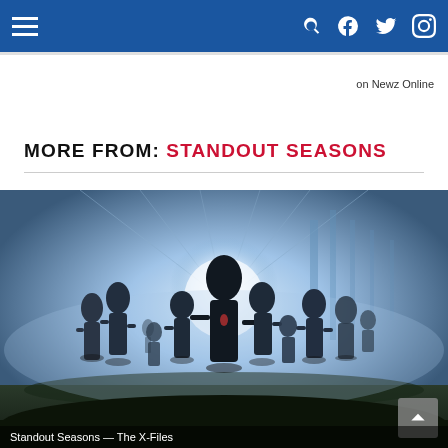Navigation bar with hamburger menu, search, Facebook, Twitter, Instagram icons
on Newz Online
MORE FROM: STANDOUT SEASONS
[Figure (photo): Silhouettes of alien figures walking in misty blue light inside a large structure or hangar, with a bright central light source behind them. Multiple alien beings of varying sizes walk toward the viewer.]
Standout Seasons — The X-Files